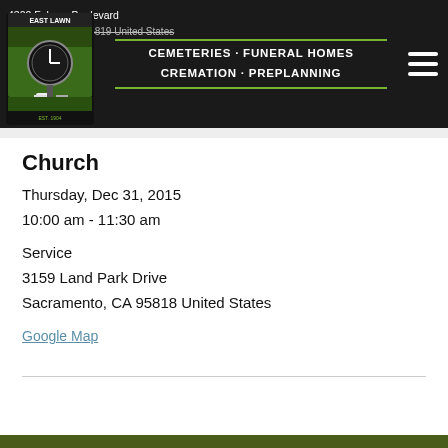4300 Folsom Boulevard Sacramento, CA 95819 United States
[Figure (logo): East Lawn Cemeteries Funeral Homes Cremation Preplanning logo with circular clock/cemetery emblem on dark background with green accent lines]
Church
Thursday, Dec 31, 2015
10:00 am - 11:30 am
Service
3159 Land Park Drive
Sacramento, CA 95818 United States
Google Map